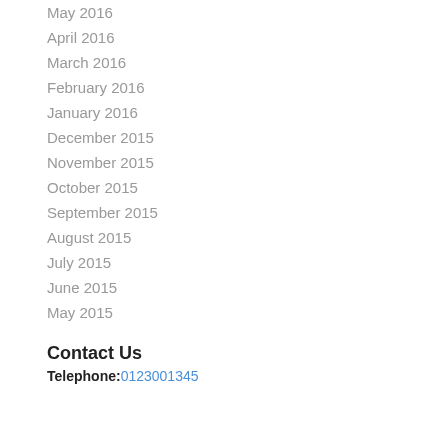May 2016
April 2016
March 2016
February 2016
January 2016
December 2015
November 2015
October 2015
September 2015
August 2015
July 2015
June 2015
May 2015
Contact Us
Telephone: 0123001345